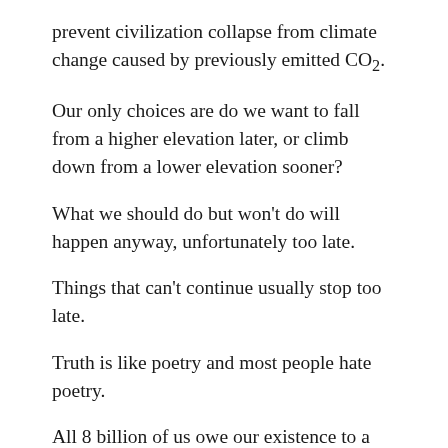prevent civilization collapse from climate change caused by previously emitted CO2.
Our only choices are do we want to fall from a higher elevation later, or climb down from a lower elevation sooner?
What we should do but won't do will happen anyway, unfortunately too late.
Things that can't continue usually stop too late.
Truth is like poetry and most people hate poetry.
All 8 billion of us owe our existence to a six-inch layer of topsoil and the fact it rains; 6